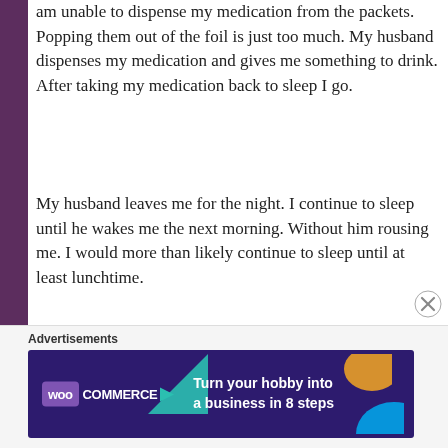am unable to dispense my medication from the packets. Popping them out of the foil is just too much. My husband dispenses my medication and gives me something to drink. After taking my medication back to sleep I go.
My husband leaves me for the night. I continue to sleep until he wakes me the next morning. Without him rousing me. I would more than likely continue to sleep until at least lunchtime.
Despite sleeping for 24hrs I am no less tired than I was before I went to bed. A symptom of Fibromyalgia is non-restorative sleep. I have Chronic Fatigue Syndrome as well as Fibromyalgia. So I experience it two-fold.
[Figure (other): WooCommerce advertisement banner: 'Turn your hobby into a business in 8 steps' with decorative colored shapes on dark purple background]
Advertisements